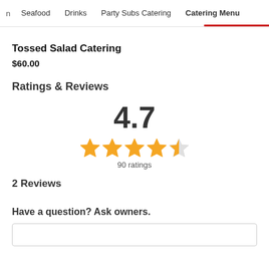n  Seafood  Drinks  Party Subs Catering  Catering Menu
Tossed Salad Catering
$60.00
Ratings & Reviews
[Figure (other): Rating display showing 4.7 out of 5 stars with 4 full stars and 1 half star, and 90 ratings]
2 Reviews
Have a question? Ask owners.